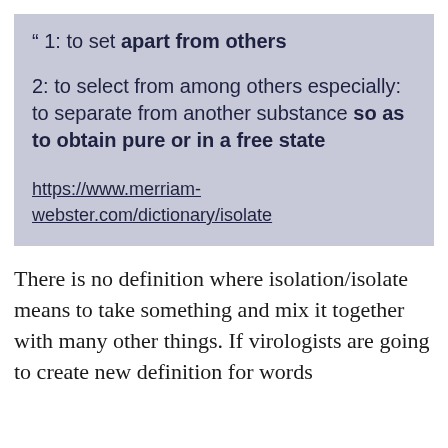" 1: to set apart from others

2: to select from among others especially: to separate from another substance so as to obtain pure or in a free state

https://www.merriam-webster.com/dictionary/isolate
There is no definition where isolation/isolate means to take something and mix it together with many other things. If virologists are going to create new definition for words